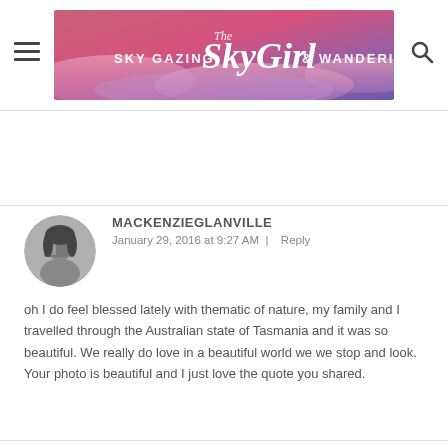The SkyGirl — SKY GAZING & WANDERING
[Figure (logo): The SkyGirl blog banner with pink/purple sky background, text: SKY GAZING The SkyGirl & WANDERING]
[Figure (photo): Circular avatar photo of a person covering their face with a book or object, dark hair, grey tones]
MACKENZIEGLANVILLE
January 29, 2016 at 9:27 AM  |  Reply
oh I do feel blessed lately with thematic of nature, my family and I travelled through the Australian state of Tasmania and it was so beautiful. We really do love in a beautiful world we we stop and look. Your photo is beautiful and I just love the quote you shared.